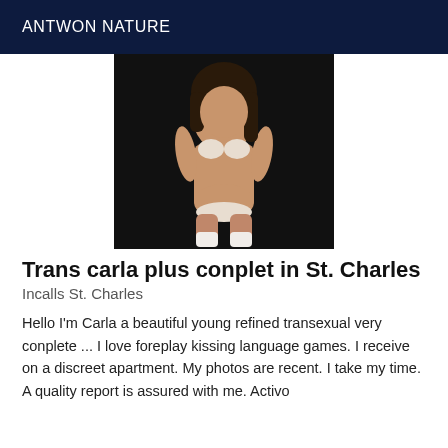ANTWON NATURE
[Figure (photo): Portrait photo of a woman in white lingerie and white stockings against a dark background]
Trans carla plus conplet in St. Charles
Incalls St. Charles
Hello I'm Carla a beautiful young refined transexual very conplete ... I love foreplay kissing language games. I receive on a discreet apartment. My photos are recent. I take my time. A quality report is assured with me. Activo